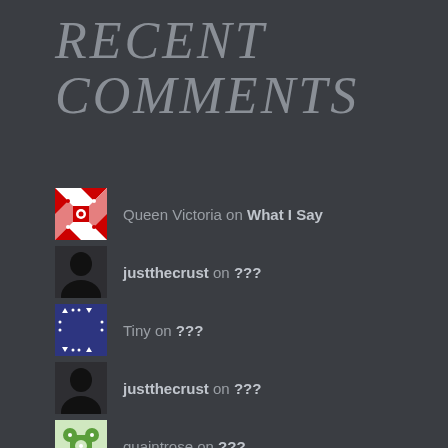RECENT COMMENTS
Queen Victoria on What I Say
justthecrust on ???
Tiny on ???
justthecrust on ???
quaintrose on ???